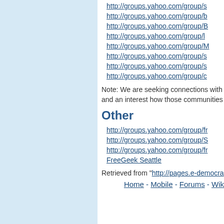http://groups.yahoo.com/group/s
http://groups.yahoo.com/group/b
http://groups.yahoo.com/group/B
http://groups.yahoo.com/group/l
http://groups.yahoo.com/group/M
http://groups.yahoo.com/group/s
http://groups.yahoo.com/group/s
http://groups.yahoo.com/group/c
Note: We are seeking connections with and an interest how those communities
Other
http://groups.yahoo.com/group/fr
http://groups.yahoo.com/group/S
http://groups.yahoo.com/group/fr
FreeGeek Seattle
Retrieved from "http://pages.e-democra
Home - Mobile - Forums - Wik